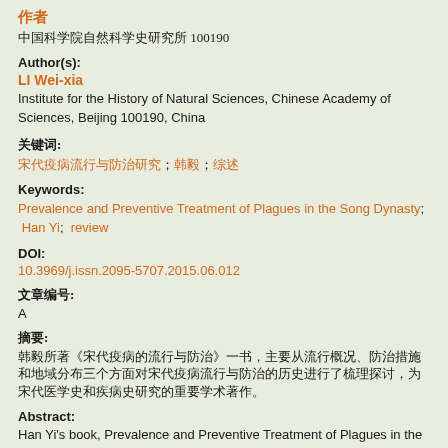作者
中国科学院自然科学史研究所 100190
Author(s):
LI Wei-xia
Institute for the History of Natural Sciences, Chinese Academy of Sciences, Beijing 100190, China
关键词:
宋代疫病流行与防治研究; 韩毅; 综述
Keywords:
Prevalence and Preventive Treatment of Plagues in the Song Dynasty;  Han Yi;  review
DOI:
10.3969/j.issn.2095-5707.2015.06.012
文章编号:
A
摘要:
韩毅所著《宋代疫病的流行与防治》一书，主要从流行概况、防治措施和地域分布三个方面对宋代疫病流行与防治的历史进行了梳理探讨，为宋代医学史和疾病史研究的重要学术著作。
Abstract:
Han Yi's book, Prevalence and Preventive Treatment of Plagues in the Song Dynasty, mainly focuses on the study of prevalent overview